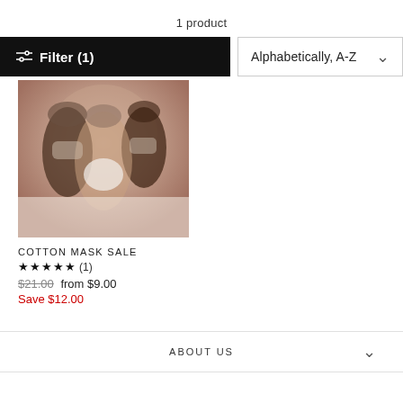1 product
Filter (1)
Alphabetically, A-Z
[Figure (photo): Product photo showing people wearing cotton masks]
COTTON MASK SALE
★★★★★ (1)
$21.00 from $9.00
Save $12.00
ABOUT US